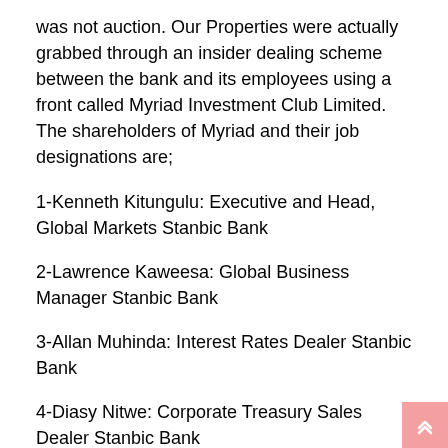was not auction. Our Properties were actually grabbed through an insider dealing scheme between the bank and its employees using a front called Myriad Investment Club Limited. The shareholders of Myriad and their job designations are;
1-Kenneth Kitungulu: Executive and Head, Global Markets Stanbic Bank
2-Lawrence Kaweesa: Global Business Manager Stanbic Bank
3-Allan Muhinda: Interest Rates Dealer Stanbic Bank
4-Diasy Nitwe: Corporate Treasury Sales Dealer Stanbic Bank